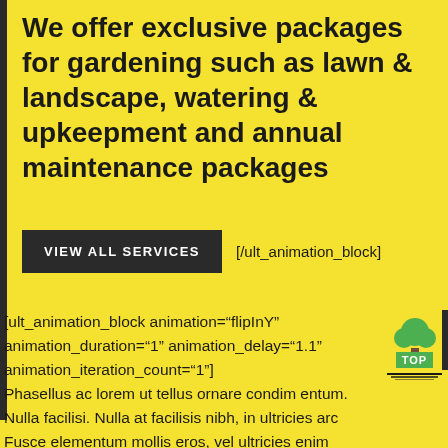We offer exclusive packages for gardening such as lawn & landscape, watering & upkeepment and annual maintenance packages
VIEW ALL SERVICES   [/ult_animation_block]
[ult_animation_block animation="flipInY" animation_duration="1" animation_delay="1.1" animation_iteration_count="1"] Phasellus ac lorem ut tellus ornare condim entum. Nulla facilisi. Nulla at facilisis nibh, in ultricies arc Fusce elementum mollis eros, vel ultricies enim consequat in.